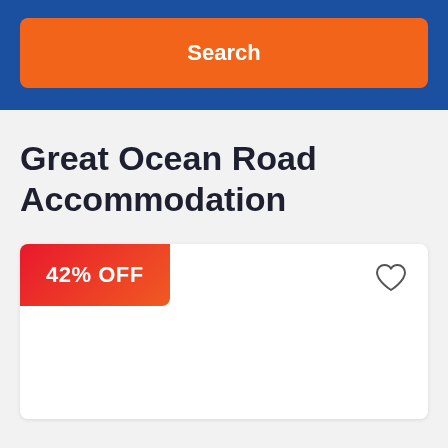[Figure (screenshot): Orange Search button on dark blue header background]
Great Ocean Road Accommodation
[Figure (infographic): Accommodation card with 42% OFF discount badge (red-to-orange gradient) and a heart/favorite icon in the top right corner]